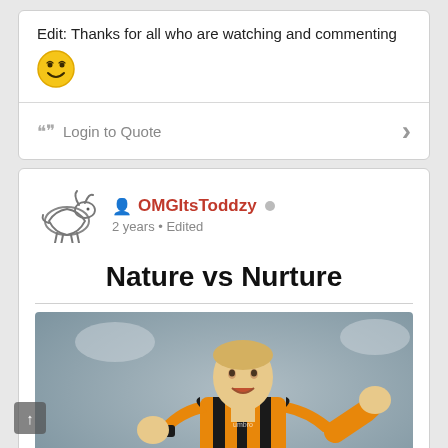Edit: Thanks for all who are watching and commenting 😊
[Figure (illustration): Smiley face emoji]
❝❞ Login to Quote
[Figure (logo): Derby County FC ram logo]
OMGItsToddzy
2 years • Edited
Nature vs Nurture
[Figure (photo): Football player in Hull City orange/black kit celebrating, with SportPesa sponsor, blurred stadium background]